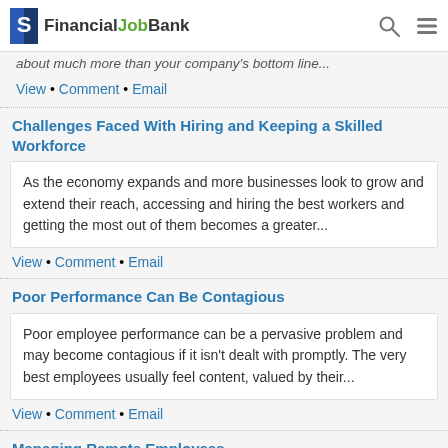FinancialJobBank
about much more than your company's bottom line...
View • Comment • Email
Challenges Faced With Hiring and Keeping a Skilled Workforce
As the economy expands and more businesses look to grow and extend their reach, accessing and hiring the best workers and getting the most out of them becomes a greater...
View • Comment • Email
Poor Performance Can Be Contagious
Poor employee performance can be a pervasive problem and may become contagious if it isn't dealt with promptly. The very best employees usually feel content, valued by their...
View • Comment • Email
Managing Remote Employees
Remote employees can present a challenge for a human resources department. When a worker does not maintain a